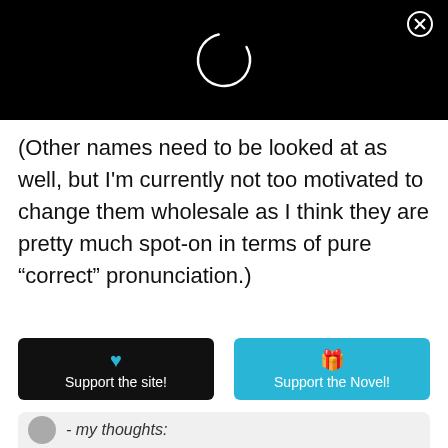[Figure (screenshot): Black header bar with a loading spinner (partial circle) in white, and an X close button in the top right corner.]
(Other names need to be looked at as well, but I'm currently not too motivated to change them wholesale as I think they are pretty much spot-on in terms of pure “correct” pronunciation.)
[Figure (screenshot): Two buttons side by side: a black button labeled 'Support the site!' with a heart icon, and a blue button labeled 'Support the Novel!' with a gift icon.]
- my thoughts: